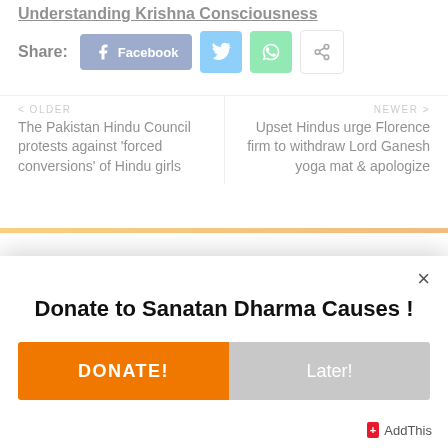Understanding Krishna Consciousness
Share:
Facebook | Twitter | WhatsApp | Share
< OLDER
The Pakistan Hindu Council protests against 'forced conversions' of Hindu girls
NEWER >
Upset Hindus urge Florence firm to withdraw Lord Ganesh yoga mat & apologize
Donate to Sanatan Dharma Causes !
DONATE! | Later!
AddThis